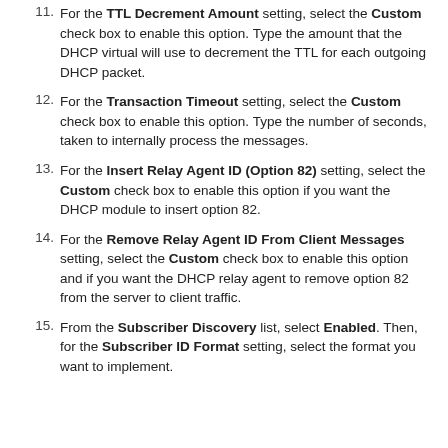11. For the TTL Decrement Amount setting, select the Custom check box to enable this option. Type the amount that the DHCP virtual will use to decrement the TTL for each outgoing DHCP packet.
12. For the Transaction Timeout setting, select the Custom check box to enable this option. Type the number of seconds, taken to internally process the messages.
13. For the Insert Relay Agent ID (Option 82) setting, select the Custom check box to enable this option if you want the DHCP module to insert option 82.
14. For the Remove Relay Agent ID From Client Messages setting, select the Custom check box to enable this option and if you want the DHCP relay agent to remove option 82 from the server to client traffic.
15. From the Subscriber Discovery list, select Enabled. Then, for the Subscriber ID Format setting, select the format you want to implement.